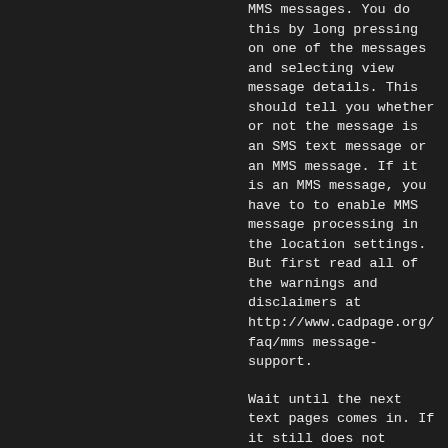MMS messages.  You do this by long pressing on one of the messages and selecting view message details.  This should tell you whether or not the message is an SMS text message or an MMS message.  If it is an MMS message, you have to to enable MMS message processing in the location settings.  But first read all of the warnings and disclaimers at http://www.cadpage.org/faq/mms message-support.
Wait until the next text pages comes in.  If it still does not trigger CadPage, then use the send email to developer feature to send us an email report.  This should include the most recently received text message, whether or not it was processed by CadPage, which gives us a lot of information about